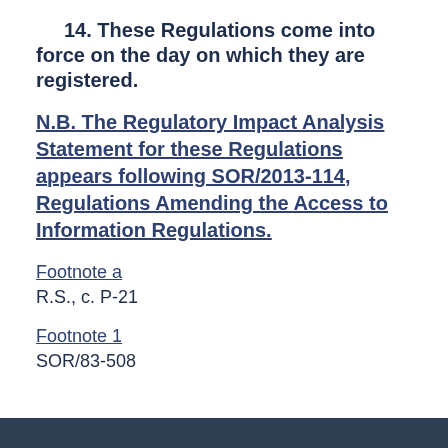14. These Regulations come into force on the day on which they are registered.
N.B. The Regulatory Impact Analysis Statement for these Regulations appears following SOR/2013-114, Regulations Amending the Access to Information Regulations.
Footnote a
R.S., c. P-21
Footnote 1
SOR/83-508